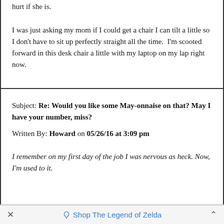hurt if she is.

I was just asking my mom if I could get a chair I can tilt a little so I don't have to sit up perfectly straight all the time.  I'm scooted forward in this desk chair a little with my laptop on my lap right now.
Subject: Re: Would you like some May-onnaise on that? May I have your number, miss?

Written By: Howard on 05/26/16 at 3:09 pm

I remember on my first day of the job I was nervous as heck. Now, I'm used to it.
× Shop The Legend of Zelda ^